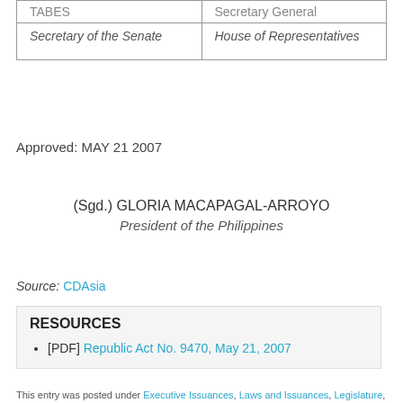| TAΒES | Secretary General |
| --- | --- |
| Secretary of the Senate | House of Representatives |
Approved: MAY 21 2007
(Sgd.) GLORIA MACAPAGAL-ARROYO
President of the Philippines
Source: CDAsia
RESOURCES
[PDF] Republic Act No. 9470, May 21, 2007
This entry was posted under Executive Issuances, Laws and Issuances, Legislature, Republic Acts and tagged Executive Issuances, Gloria Macapagal Arroyo, Republic Acts. Bookmark the permalink.